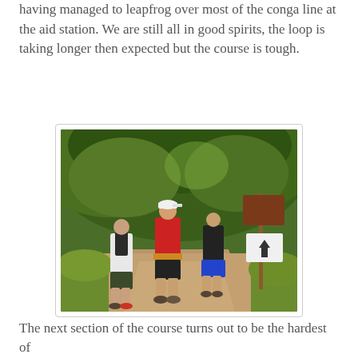having managed to leapfrog over most of the conga line at the aid station. We are still all in good spirits, the loop is taking longer then expected but the course is tough.
[Figure (photo): Three trail runners walking along a dirt path into a wooded area with green trees. The runner on the left wears a white shirt and carries a backpack. The runner in the middle wears a red shirt and a cap with a race belt. The runner on the right wears a black tank top and blue shorts. A brown trailhead sign and an arrow sign are visible on the right side of the path.]
The next section of the course turns out to be the hardest of